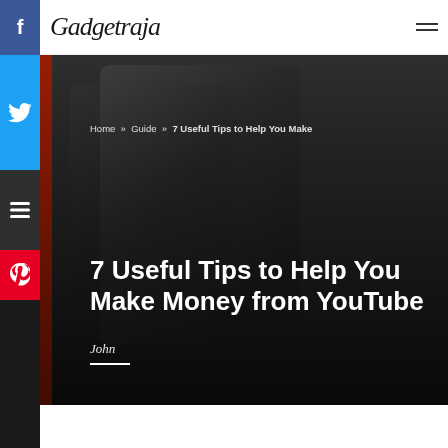Gadgetraja
Home » Guide » 7 Useful Tips to Help You Make
[Figure (screenshot): Dark background hero image showing a person holding a tablet/phone, used as article header background]
7 Useful Tips to Help You Make Money from YouTube
John